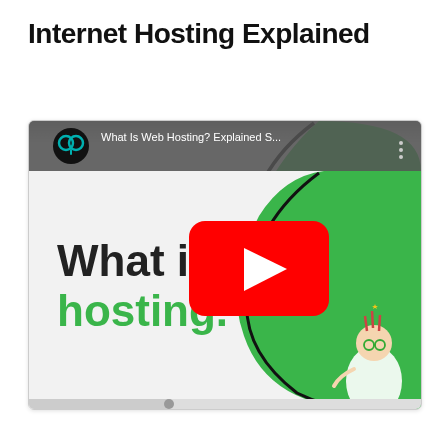Internet Hosting Explained
[Figure (screenshot): YouTube video thumbnail/embed showing 'What Is Web Hosting? Explained S...' with a play button overlay. The thumbnail shows bold text 'What is hosting.' in black and green on a white/gray gradient background, with a green circular area on the right containing a GoDaddy wizard character. The video bar at top shows a GoDaddy logo icon, the video title, and a three-dot menu.]